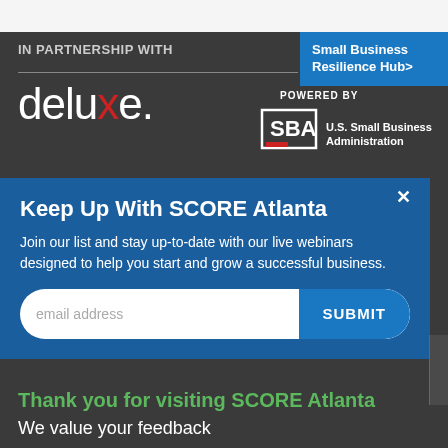IN PARTNERSHIP WITH
[Figure (logo): Small Business Resilience Hub> blue button link]
[Figure (logo): deluxe. logo in white with red x letter]
POWERED BY
[Figure (logo): SBA U.S. Small Business Administration logo]
Keep Up With SCORE Atlanta
Join our list and stay up-to-date with our live webinars designed to help you start and grow a successful business.
email address
SUBMIT
Thank you for visiting SCORE Atlanta
We value your feedback